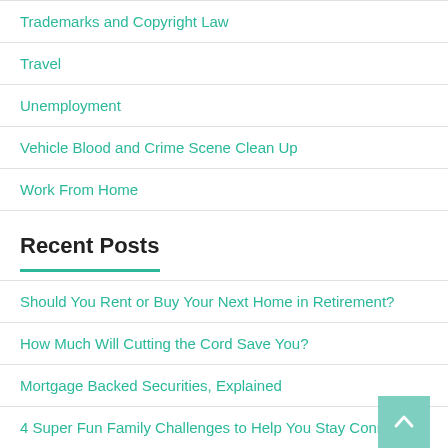Trademarks and Copyright Law
Travel
Unemployment
Vehicle Blood and Crime Scene Clean Up
Work From Home
Recent Posts
Should You Rent or Buy Your Next Home in Retirement?
How Much Will Cutting the Cord Save You?
Mortgage Backed Securities, Explained
4 Super Fun Family Challenges to Help You Stay Connected
How to Balance Your Life and Budget: 12 Tips to Stay